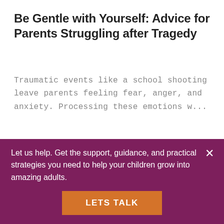Be Gentle with Yourself: Advice for Parents Struggling after Tragedy
Traumatic events like a school shooting leave parents feeling fear, anger, and anxiety. Processing these emotions w...
CONTINUE READING
WE HELP KIDS AND
Let us help. Get the support, guidance, and practical strategies you need to help your children grow into amazing adults.
LETS TALK